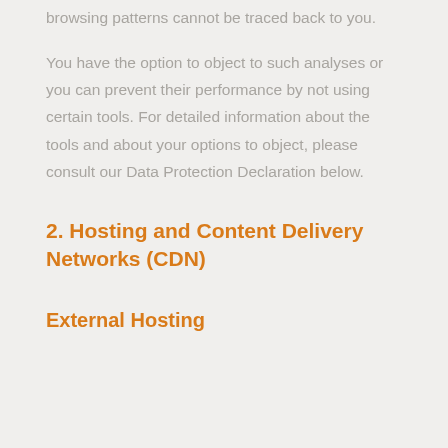browsing patterns cannot be traced back to you.
You have the option to object to such analyses or you can prevent their performance by not using certain tools. For detailed information about the tools and about your options to object, please consult our Data Protection Declaration below.
2. Hosting and Content Delivery Networks (CDN)
External Hosting